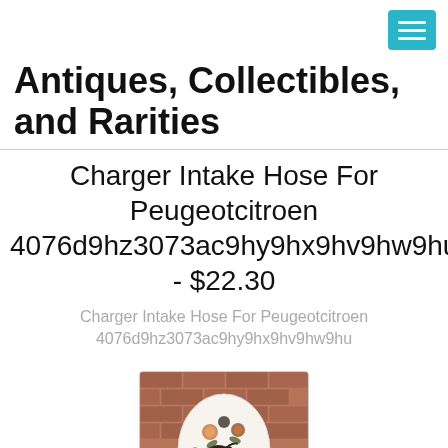[Menu button]
Antiques, Collectibles, and Rarities
Charger Intake Hose For Peugeotcitroen 4076d9hz3073ac9hy9hx9hv9hw9hu - $22.30
Charger Intake Hose For Peugeotcitroen 4076d9hz3073ac9hy9hx9hv9hw9hu
[Figure (photo): Photo of a decorative ceramic or porcelain item with floral and bird patterns in white, brown, and black against a brick wall background]